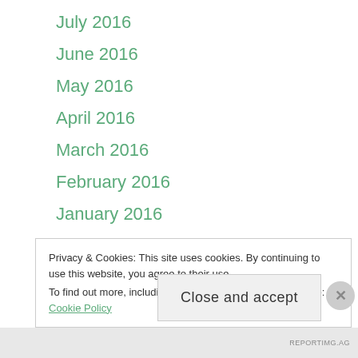July 2016
June 2016
May 2016
April 2016
March 2016
February 2016
January 2016
December 2015
November 2015
August 2015
March 2015
January 2015
Privacy & Cookies: This site uses cookies. By continuing to use this website, you agree to their use.
To find out more, including how to control cookies, see here: Cookie Policy
Close and accept
REPORTIMG.AG